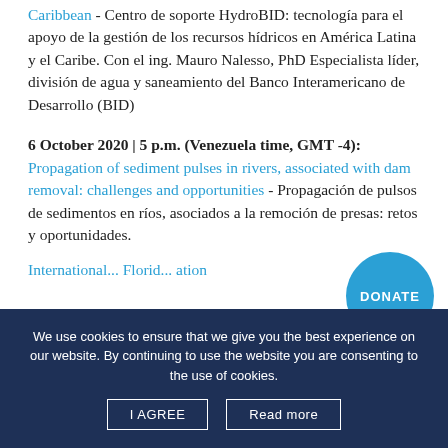Caribbean - Centro de soporte HydroBID: tecnología para el apoyo de la gestión de los recursos hídricos en América Latina y el Caribe. Con el ing. Mauro Nalesso, PhD Especialista líder, división de agua y saneamiento del Banco Interamericano de Desarrollo (BID)
6 October 2020 | 5 p.m. (Venezuela time, GMT -4): Propagation of sediment pulses in rivers, associated with dam removal: challenges and opportunities - Propagación de pulsos de sedimentos en ríos, asociados a la remoción de presas: retos y oportunidades.
International... Florid... (partial link, truncated)
We use cookies to ensure that we give you the best experience on our website. By continuing to use the website you are consenting to the use of cookies.